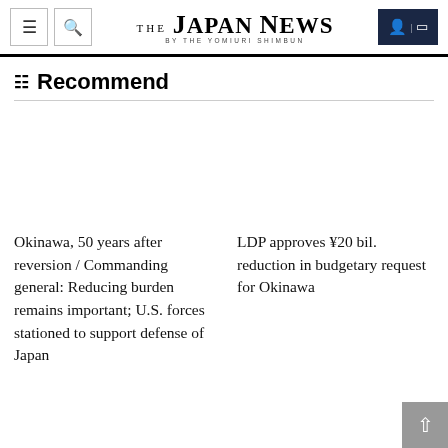THE JAPAN NEWS BY THE YOMIURI SHIMBUN
Recommend
Okinawa, 50 years after reversion / Commanding general: Reducing burden remains important; U.S. forces stationed to support defense of Japan
LDP approves ¥20 bil. reduction in budgetary request for Okinawa